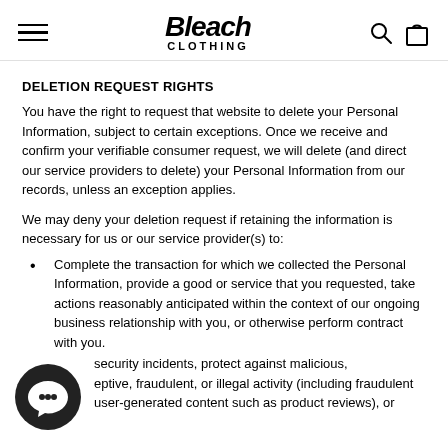Bleach Clothing
DELETION REQUEST RIGHTS
You have the right to request that website to delete your Personal Information, subject to certain exceptions. Once we receive and confirm your verifiable consumer request, we will delete (and direct our service providers to delete) your Personal Information from our records, unless an exception applies.
We may deny your deletion request if retaining the information is necessary for us or our service provider(s) to:
Complete the transaction for which we collected the Personal Information, provide a good or service that you requested, take actions reasonably anticipated within the context of our ongoing business relationship with you, or otherwise perform contract with you.
security incidents, protect against malicious, ptive, fraudulent, or illegal activity (including fraudulent user-generated content such as product reviews), or